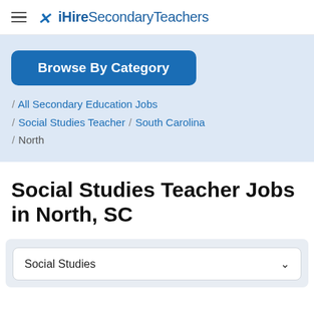iHireSecondaryTeachers
Browse By Category
/ All Secondary Education Jobs
/ Social Studies Teacher / South Carolina
/ North
Social Studies Teacher Jobs in North, SC
Social Studies